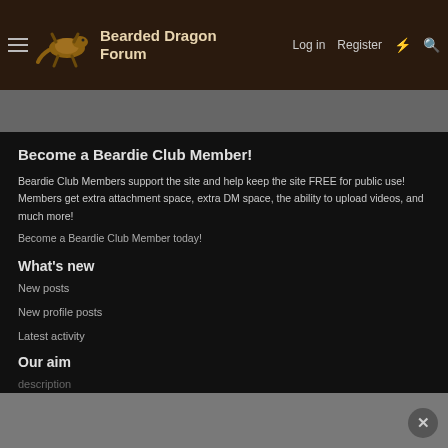Bearded Dragon Forum — Log in  Register
Become a Beardie Club Member!
Beardie Club Members support the site and help keep the site FREE for public use! Members get extra attachment space, extra DM space, the ability to upload videos, and much more!
Become a Beardie Club Member today!
What's new
New posts
New profile posts
Latest activity
Our aim
description